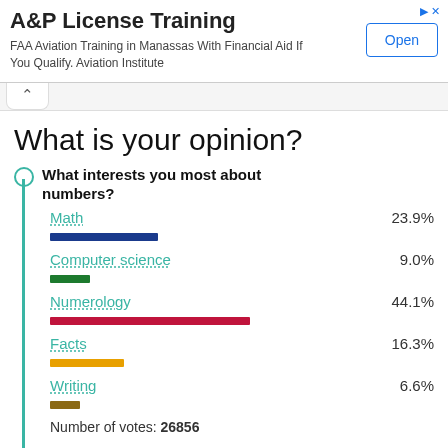[Figure (infographic): Ad banner: A&P License Training. FAA Aviation Training in Manassas With Financial Aid If You Qualify. Aviation Institute. Open button.]
What is your opinion?
What interests you most about numbers?
[Figure (bar-chart): What interests you most about numbers?]
Number of votes: 26856